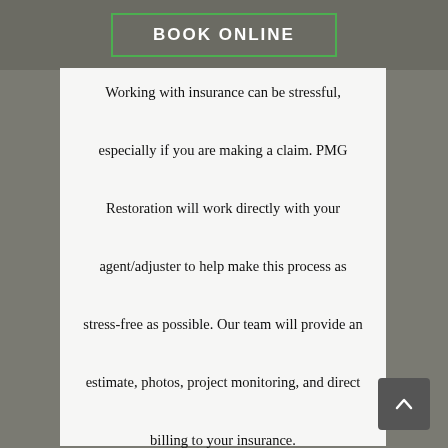[Figure (other): Green-bordered BOOK ONLINE button on dark gray header background]
Working with insurance can be stressful, especially if you are making a claim. PMG Restoration will work directly with your agent/adjuster to help make this process as stress-free as possible. Our team will provide an estimate, photos, project monitoring, and direct billing to your insurance.
For your convenience, we accept AMERICAN EXPRESS, DISCOVER, MASTERCARD, VISA
There will be a $35 service charge for all